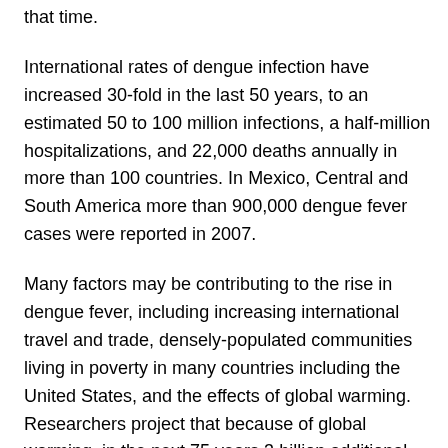that time.
International rates of dengue infection have increased 30-fold in the last 50 years, to an estimated 50 to 100 million infections, a half-million hospitalizations, and 22,000 deaths annually in more than 100 countries. In Mexico, Central and South America more than 900,000 dengue fever cases were reported in 2007.
Many factors may be contributing to the rise in dengue fever, including increasing international travel and trade, densely-populated communities living in poverty in many countries including the United States, and the effects of global warming. Researchers project that because of global warming, in the next 75 years 3 billion additional people will become at risk for the disease across the globe.
Known as “Breakbone Fever” because of its classic symptoms, characterized by excruciating pain in the bones, joints